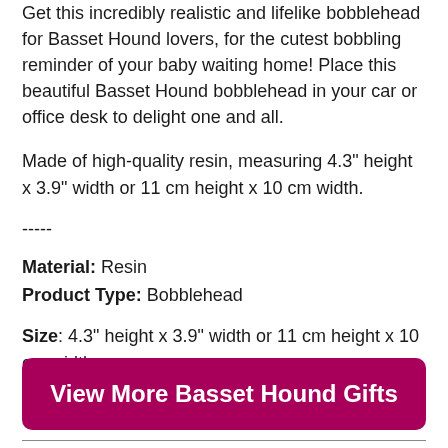Get this incredibly realistic and lifelike bobblehead for Basset Hound lovers, for the cutest bobbling reminder of your baby waiting home! Place this beautiful Basset Hound bobblehead in your car or office desk to delight one and all.
Made of high-quality resin, measuring 4.3" height x 3.9" width or 11 cm height x 10 cm width.
-----
Material: Resin
Product Type: Bobblehead
Size: 4.3" height x 3.9" width or 11 cm height x 10 cm width
[Figure (other): Button: View More Basset Hound Gifts (dark pink/magenta rounded rectangle)]
[Figure (other): Button: View More Dog Bobbleheads (dark pink/magenta rounded rectangle, partially visible)]